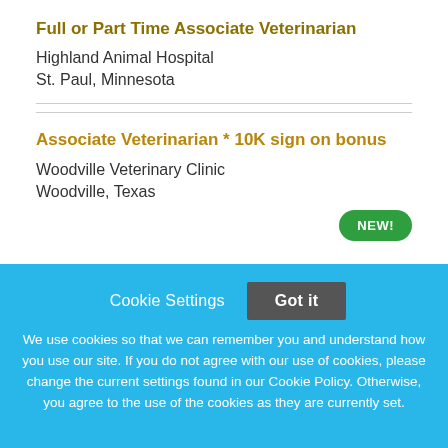Full or Part Time Associate Veterinarian
Highland Animal Hospital
St. Paul, Minnesota
Associate Veterinarian * 10K sign on bonus
Woodville Veterinary Clinic
Woodville, Texas
NEW!
Cookie Settings  Got it

We use cookies so that we can remember you and understand how you use our site. If you do not agree with our use of cookies, please change the current settings found in our Cookie Policy. Otherwise, you agree to the use of the cookies as they are currently set.